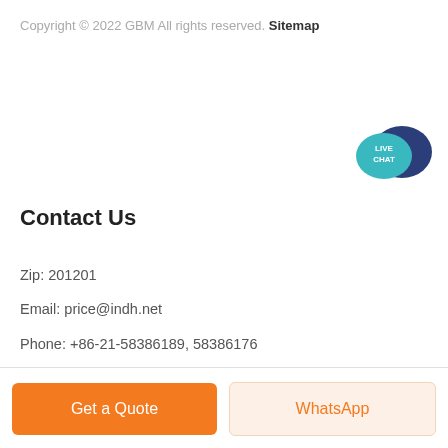Copyright © 2022 GBM All rights reserved. Sitemap
[Figure (illustration): Live Chat speech bubble icon — teal bubble with white text 'LIVE CHAT' overlapping a dark navy bubble shape]
Contact Us
Zip: 201201
Email: price@indh.net
Phone: +86-21-58386189, 58386176
Address: No.416 Jianye Road, South Jinqiao Area,Pudong New Area, Shanghai, China.
Get a Quote
WhatsApp